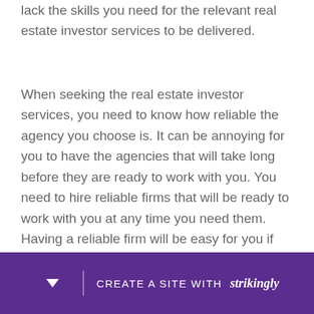lack the skills you need for the relevant real estate investor services to be delivered.
When seeking the real estate investor services, you need to know how reliable the agency you choose is. It can be annoying for you to have the agencies that will take long before they are ready to work with you. You need to hire reliable firms that will be ready to work with you at any time you need them. Having a reliable firm will be easy for you if you compare the schedules you work with and the time the agreed. Find a firm that can work for 24 hours in a day, even when you have an emergency and the real estate investor services rende
CREATE A SITE WITH strikingly